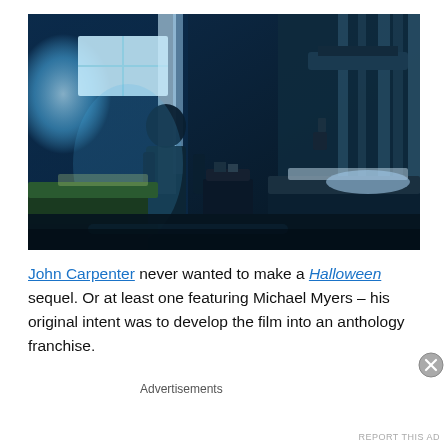[Figure (photo): A dark blue-tinted hospital room scene with a shadowy figure standing near a bright window. Hospital beds visible in the foreground and right side, curtains, and medical equipment. Still from Halloween II film.]
John Carpenter never wanted to make a Halloween sequel. Or at least one featuring Michael Myers – his original intent was to develop the film into an anthology franchise.
Advertisements